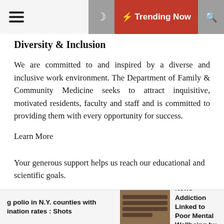☰ | 🌙 ⚡ Trending Now 🔍
Diversity & Inclusion
We are committed to and inspired by a diverse and inclusive work environment. The Department of Family & Community Medicine seeks to attract inquisitive, motivated residents, faculty and staff and is committed to providing them with every opportunity for success.
Learn More
Your generous support helps us reach our educational and scientific goals.
CONTRIBUTE TODAY
Back to top
...g polio in N.Y. counties with ination rates : Shots  |  [image]  |  News Addiction Linked to Poor Mental Wellbeing bu